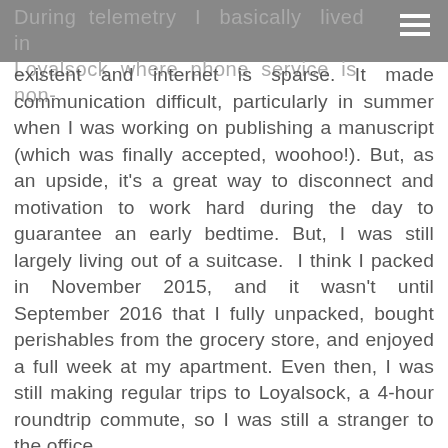During telemetry I basically lived in Loyalsock where phone service is non-existent and internet is sparse.
existent and internet is sparse. It made communication difficult, particularly in summer when I was working on publishing a manuscript (which was finally accepted, woohoo!). But, as an upside, it's a great way to disconnect and motivation to work hard during the day to guarantee an early bedtime. But, I was still largely living out of a suitcase. I think I packed in November 2015, and it wasn't until September 2016 that I fully unpacked, bought perishables from the grocery store, and enjoyed a full week at my apartment. Even then, I was still making regular trips to Loyalsock, a 4-hour roundtrip commute, so I was still a stranger to the office.